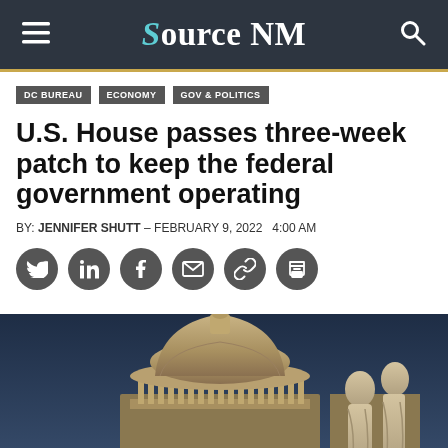Source NM
DC BUREAU   ECONOMY   GOV & POLITICS
U.S. House passes three-week patch to keep the federal government operating
BY: JENNIFER SHUTT - FEBRUARY 9, 2022  4:00 AM
[Figure (other): Social media sharing icons: Twitter, LinkedIn, Facebook, Email, Link, Print]
[Figure (photo): Photograph of the U.S. Capitol dome with classical stone statues in the foreground against a dark blue sky]